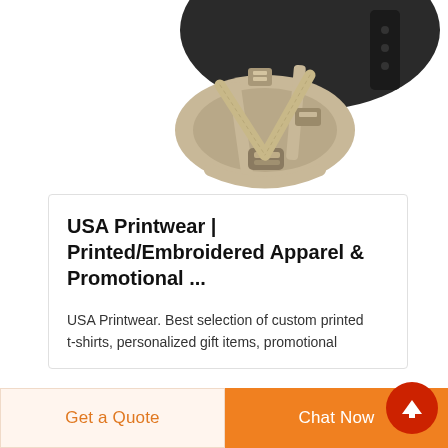[Figure (photo): Close-up photo of a tactical/military helmet with tan/beige chin straps and buckles, black helmet shell, viewed from below/side angle, white background.]
USA Printwear | Printed/Embroidered Apparel & Promotional ...
USA Printwear. Best selection of custom printed t-shirts, personalized gift items, promotional